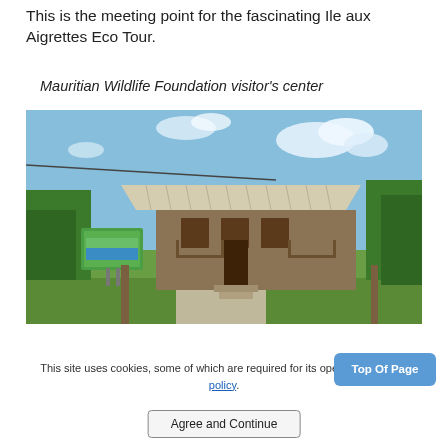This is the meeting point for the fascinating Ile aux Aigrettes Eco Tour.
Mauritian Wildlife Foundation visitor's center
[Figure (photo): A small wooden colonial-style building serving as the Mauritian Wildlife Foundation visitor's center, with a corrugated metal roof, steps leading to the entrance, green vegetation on both sides, a colorful sign on the left, and a blue cloudy sky in the background.]
This site uses cookies, some of which are required for its operation. Privacy policy.
Top Of Page
Agree and Continue